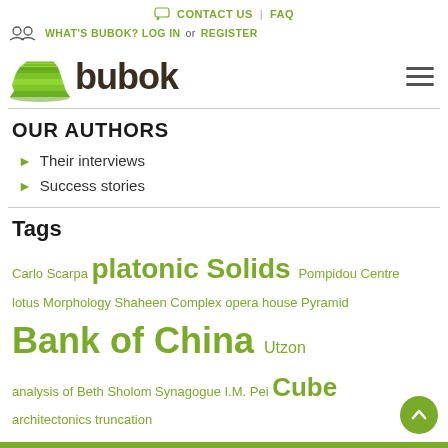CONTACT US | FAQ
WHAT'S BUBOK? LOG IN or REGISTER
[Figure (logo): Bubok logo with green stacked books icon and dark brown 'bubok' text]
OUR AUTHORS
Their interviews
Success stories
Tags
Carlo Scarpa platonic Solids Pompidou Centre lotus Morphology Shaheen Complex opera house Pyramid Bank of China Utzon analysis of Beth Sholom Synagogue I.M. Pei Cube architectonics truncation